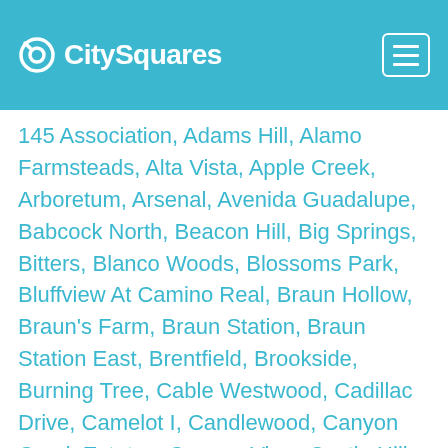CitySquares
145 Association, Adams Hill, Alamo Farmsteads, Alta Vista, Apple Creek, Arboretum, Arsenal, Avenida Guadalupe, Babcock North, Beacon Hill, Big Springs, Bitters, Blanco Woods, Blossoms Park, Bluffview At Camino Real, Braun Hollow, Braun's Farm, Braun Station, Braun Station East, Brentfield, Brookside, Burning Tree, Cable Westwood, Cadillac Drive, Camelot I, Candlewood, Canyon Creek Estates, Canyon View, Castle Hills Forest, Cattleman Square, Churchill Estates, Churchill Forest, Coliseum Willow Park, College Park, Collins Gardens, Colonies Village Condo, Comanche, Country, Country View, Country View Village, Crownhill Park, Crown Meadows, Culebra Park, Deerfield, Deer Hollow, Dellcrest Forrest, Denver Heights, Dignowty Hill, Dijon Heights, Dominion, Donaldson Terrace, Downtown, Dreamhill Estates, Dreamland Oaks, East Pyron, East Terrell Hills, East Village, Eckhert Crossing, Eden,